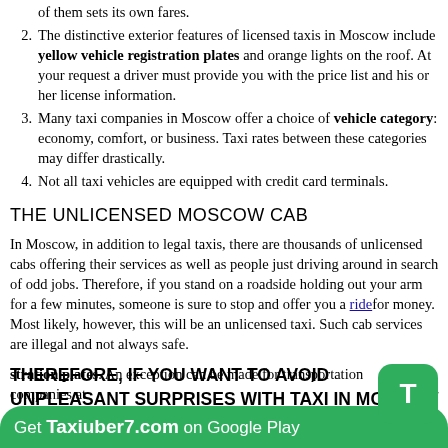of them sets its own fares.
The distinctive exterior features of licensed taxis in Moscow include yellow vehicle registration plates and orange lights on the roof. At your request a driver must provide you with the price list and his or her license information.
Many taxi companies in Moscow offer a choice of vehicle category: economy, comfort, or business. Taxi rates between these categories may differ drastically.
Not all taxi vehicles are equipped with credit card terminals.
THE UNLICENSED MOSCOW CAB
In Moscow, in addition to legal taxis, there are thousands of unlicensed cabs offering their services as well as people just driving around in search of odd jobs. Therefore, if you stand on a roadside holding out your arm for a few minutes, someone is sure to stop and offer you a ride for money. Most likely, however, this will be an unlicensed taxi. Such cab services are illegal and not always safe.
THEREFORE, IF YOU WANT TO AVOID UNPLEASANT SURPRISES WITH TAXI IN MOSCOW
registration plates. An exception can be made for transportation companies at
Get Taxiuber7.com on Google Play